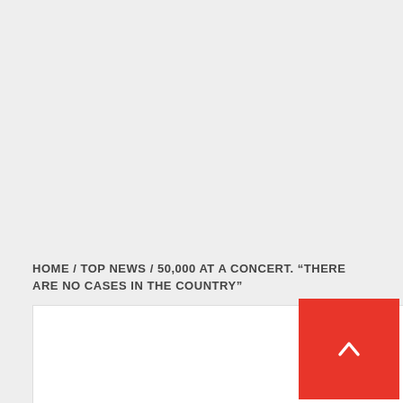HOME / TOP NEWS / 50,000 AT A CONCERT. “THERE ARE NO CASES IN THE COUNTRY”